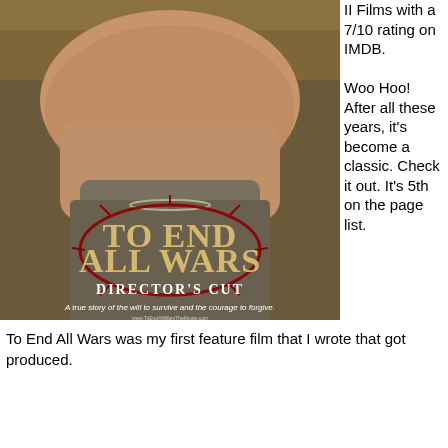[Figure (photo): Movie poster for 'To End All Wars: Director's Cut' featuring a close-up of a man's face from chin to forehead, with the title text in large letters and tagline 'A true story of the will to survive and the courage to forgive.']
II Films with a 7/10 rating on IMDB.

Woo Hoo! After all these years, it's become a classic. Check it out. It's 5th on the page list.
To End All Wars was my first feature film that I wrote that got produced.